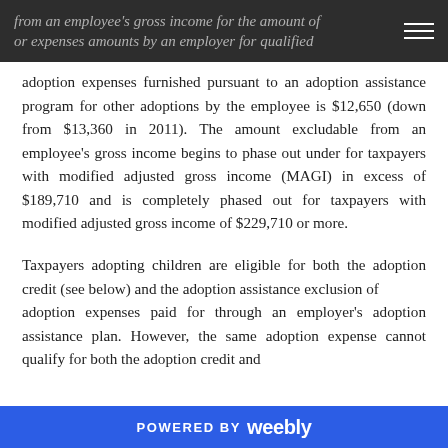from an employee's gross income for the amount of or expenses amounts by an employer for qualified
adoption expenses furnished pursuant to an adoption assistance program for other adoptions by the employee is $12,650 (down from $13,360 in 2011). The amount excludable from an employee's gross income begins to phase out under for taxpayers with modified adjusted gross income (MAGI) in excess of $189,710 and is completely phased out for taxpayers with modified adjusted gross income of $229,710 or more.
Taxpayers adopting children are eligible for both the adoption credit (see below) and the adoption assistance exclusion of adoption expenses paid for through an employer's adoption assistance plan. However, the same adoption expense cannot qualify for both the adoption credit and
POWERED BY weebly